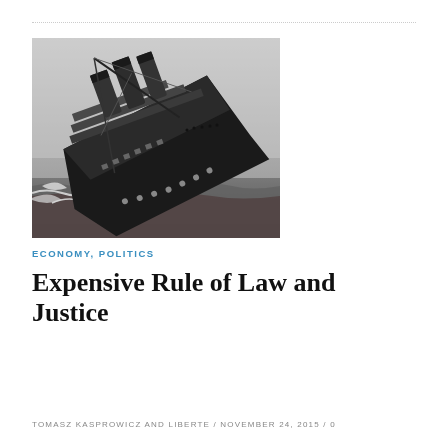[Figure (photo): Black and white historical photograph of a large ocean liner (steamship) listing heavily to one side and appearing to sink, with rough waves around it. Multiple smokestacks are visible, and the ship is tilted at a dramatic angle.]
ECONOMY, POLITICS
Expensive Rule of Law and Justice
TOMASZ KASPROWICZ AND LIBERTE / NOVEMBER 24, 2015 / 0